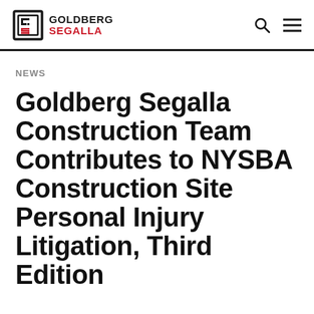[Figure (logo): Goldberg Segalla law firm logo with stylized G-S icon in black and red]
NEWS
Goldberg Segalla Construction Team Contributes to NYSBA Construction Site Personal Injury Litigation, Third Edition